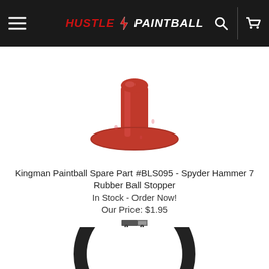HUSTLE PAINTBALL
[Figure (photo): Red rubber ball stopper / mushroom-shaped rubber bumper for paintball marker, photographed on white background]
Kingman Paintball Spare Part #BLS095 - Spyder Hammer 7 Rubber Ball Stopper
In Stock - Order Now!
Our Price: $1.95
[Figure (photo): Black rubber O-ring, large circular O-ring on white background, partially visible]